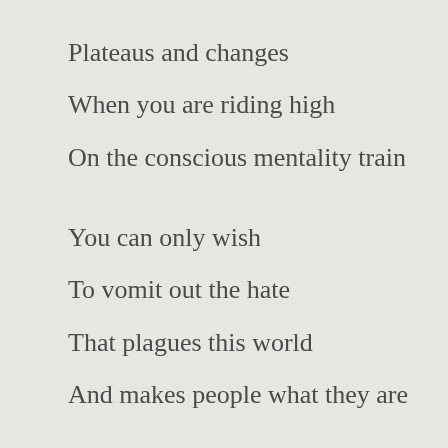Plateaus and changes
When you are riding high
On the conscious mentality train
You can only wish
To vomit out the hate
That plagues this world
And makes people what they are